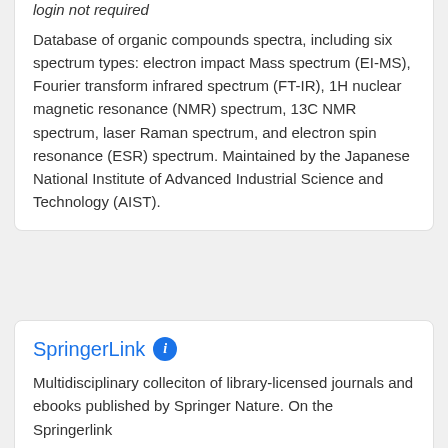login not required
Database of organic compounds spectra, including six spectrum types: electron impact Mass spectrum (EI-MS), Fourier transform infrared spectrum (FT-IR), 1H nuclear magnetic resonance (NMR) spectrum, 13C NMR spectrum, laser Raman spectrum, and electron spin resonance (ESR) spectrum. Maintained by the Japanese National Institute of Advanced Industrial Science and Technology (AIST).
SprinkerLink
Multidisciplinary colleciton of library-licensed journals and ebooks published by Springer Nature. On the Springerlink